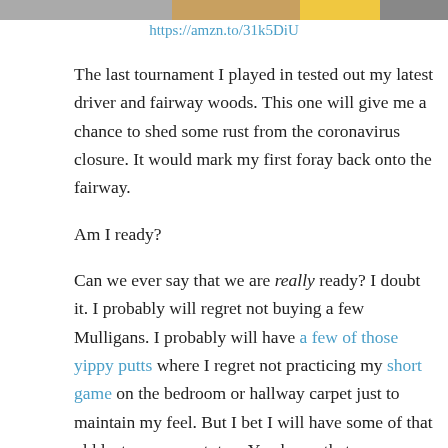[Figure (photo): Partial top of image cropped at page top]
https://amzn.to/31k5DiU
The last tournament I played in tested out my latest driver and fairway woods. This one will give me a chance to shed some rust from the coronavirus closure. It would mark my first foray back onto the fairway.
Am I ready?
Can we ever say that we are really ready? I doubt it. I probably will regret not buying a few Mulligans. I probably will have a few of those yippy putts where I regret not practicing my short game on the bedroom or hallway carpet just to maintain my feel. But I bet I will have some of that old luster come out, too. You know that...